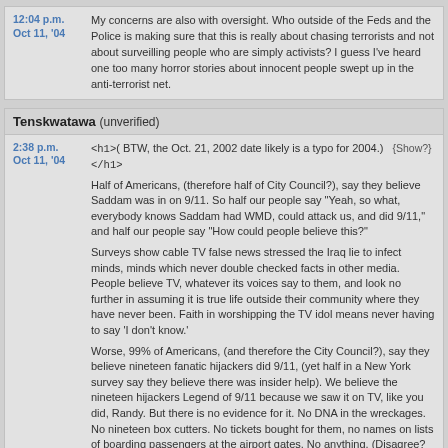12:04 p.m. Oct 11, '04 — My concerns are also with oversight. Who outside of the Feds and the Police is making sure that this is really about chasing terrorists and not about surveilling people who are simply activists? I guess I've heard one too many horror stories about innocent people swept up in the anti-terrorist net.
Tenskwatawa (unverified)
2:38 p.m. Oct 11, '04 — <h1>( BTW, the Oct. 21, 2002 date likely is a typo for 2004.) </h1> [Show?]
Half of Americans, (therefore half of City Council?), say they believe Saddam was in on 9/11. So half our people say "Yeah, so what, everybody knows Saddam had WMD, could attack us, and did 9/11," and half our people say "How could people believe this?"
Surveys show cable TV false news stressed the Iraq lie to infect minds, minds which never double checked facts in other media. People believe TV, whatever its voices say to them, and look no further in assuming it is true life outside their community where they have never been. Faith in worshipping the TV idol means never having to say 'I don't know.'
Worse, 99% of Americans, (and therefore the City Council?), say they believe nineteen fanatic hijackers did 9/11, (yet half in a New York survey say they believe there was insider help). We believe the nineteen hijackers Legend of 9/11 because we saw it on TV, like you did, Randy. But there is no evidence for it. No DNA in the wreckages. No nineteen box cutters. No tickets bought for them, no names on lists of boarding passengers at the airport gates. No anything. (Disagree? Cite one piece of complicitous evidence that any of them were on the planes.) All there was was photos and names on TV; TV said they did it.